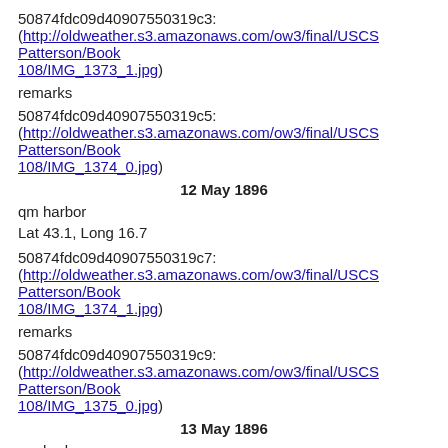50874fdc09d40907550319c3:
(http://oldweather.s3.amazonaws.com/ow3/final/USCS Patterson/Book108/IMG_1373_1.jpg)
remarks
50874fdc09d40907550319c5:
(http://oldweather.s3.amazonaws.com/ow3/final/USCS Patterson/Book108/IMG_1374_0.jpg)
12 May 1896
qm harbor
Lat 43.1, Long 16.7
50874fdc09d40907550319c7:
(http://oldweather.s3.amazonaws.com/ow3/final/USCS Patterson/Book108/IMG_1374_1.jpg)
remarks
50874fdc09d40907550319c9:
(http://oldweather.s3.amazonaws.com/ow3/final/USCS Patterson/Book108/IMG_1375_0.jpg)
13 May 1896
qm harbor
Lat 43.1, Long 16.7
50874fdc09d40907550319cb: